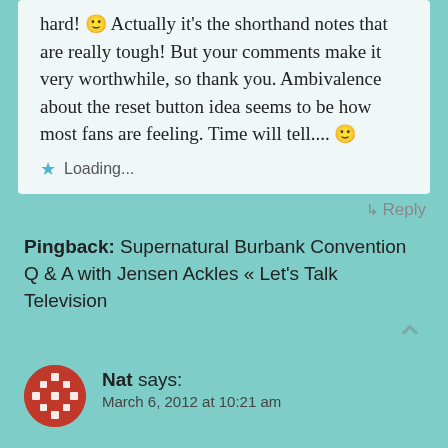hard! 🙂 Actually it's the shorthand notes that are really tough! But your comments make it very worthwhile, so thank you. Ambivalence about the reset button idea seems to be how most fans are feeling. Time will tell.... 🙂
Loading...
↳ Reply
Pingback: Supernatural Burbank Convention Q & A with Jensen Ackles « Let's Talk Television
Nat says:
March 6, 2012 at 10:21 am